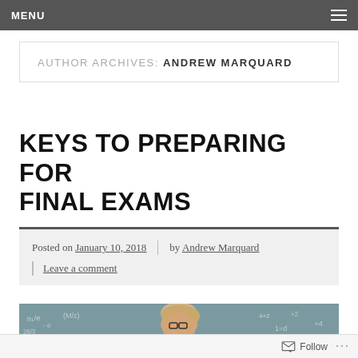MENU
AUTHOR ARCHIVES: ANDREW MARQUARD
KEYS TO PREPARING FOR FINAL EXAMS
Posted on January 10, 2018 | by Andrew Marquard | Leave a comment
[Figure (photo): A stressed student with glasses pressing hands to temples in front of a chalkboard covered with math equations]